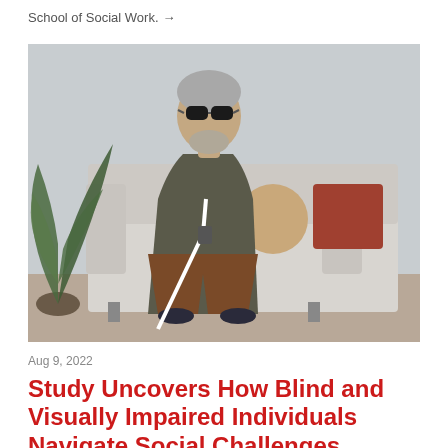School of Social Work. →
[Figure (photo): An elderly man with gray hair and dark sunglasses sitting on a light gray sofa, holding a white cane. There is a plant in the background on the left and decorative pillows on the sofa.]
Aug 9, 2022
Study Uncovers How Blind and Visually Impaired Individuals Navigate Social Challenges